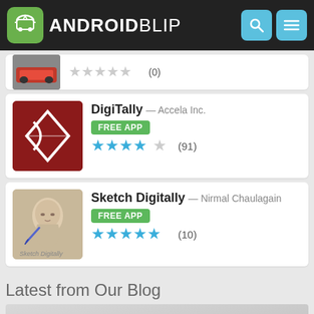ANDROIDBLIP
[Figure (screenshot): Partial app listing card with car thumbnail and star rating (0)]
DigiTally — Accela Inc. FREE APP ★★★★☆ (91)
Sketch Digitally — Nirmal Chaulagain FREE APP ★★★★★ (10)
Latest from Our Blog
[Figure (photo): Blog post thumbnail image, gray gradient with blurred dark object at bottom right]